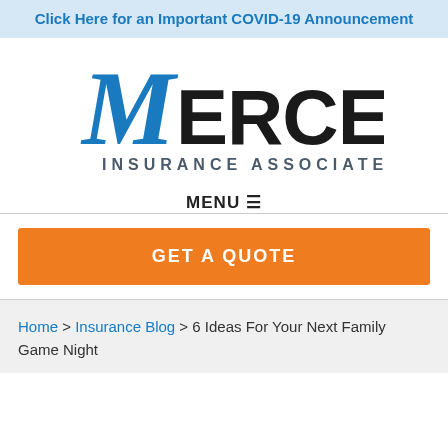Click Here for an Important COVID-19 Announcement
[Figure (logo): Mercer Insurance Associates logo — blue cursive M with black bold text MERCER and blue text INSURANCE ASSOCIATES below]
MENU ☰
GET A QUOTE
Home > Insurance Blog > 6 Ideas For Your Next Family Game Night